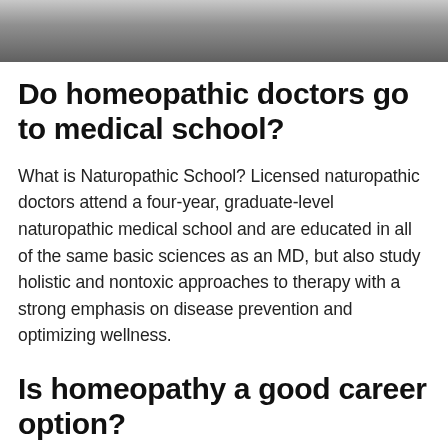[Figure (photo): A person wearing a white coat, likely a doctor, partially cropped photo at the top of the page.]
Do homeopathic doctors go to medical school?
What is Naturopathic School? Licensed naturopathic doctors attend a four-year, graduate-level naturopathic medical school and are educated in all of the same basic sciences as an MD, but also study holistic and nontoxic approaches to therapy with a strong emphasis on disease prevention and optimizing wellness.
Is homeopathy a good career option?
Yes, Homeopathy is indeed a good career in